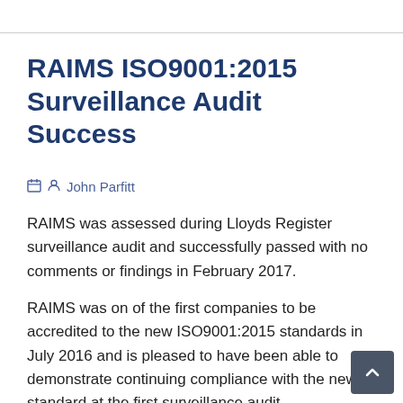RAIMS ISO9001:2015 Surveillance Audit Success
John Parfitt
RAIMS was assessed during Lloyds Register surveillance audit and successfully passed with no comments or findings in February 2017.
RAIMS was on of the first companies to be accredited to the new ISO9001:2015 standards in July 2016 and is pleased to have been able to demonstrate continuing compliance with the new standard at the first surveillance audit.